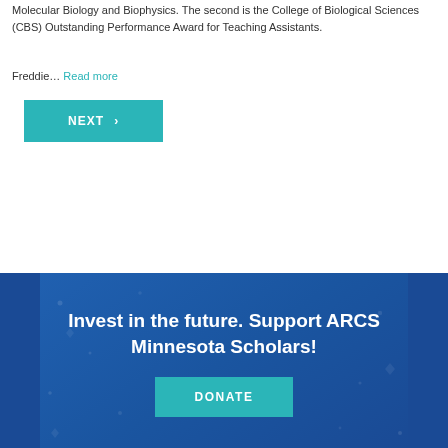Molecular Biology and Biophysics. The second is the College of Biological Sciences (CBS) Outstanding Performance Award for Teaching Assistants.
Freddie… Read more
NEXT ›
Invest in the future. Support ARCS Minnesota Scholars!
DONATE